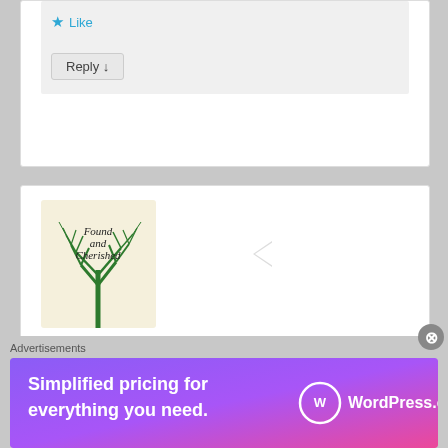★ Like
Reply ↓
[Figure (illustration): Book cover thumbnail with a bare tree on beige background, text reads 'Found and Cherished']
Found and Cherished on 2012-12-12 at 14:51 said:
This is awesome! Thank you for the reminder : )
★ Like
Advertisements
[Figure (screenshot): WordPress.com advertisement banner: 'Simplified pricing for everything you need.' with WordPress.com logo on gradient purple-pink background]